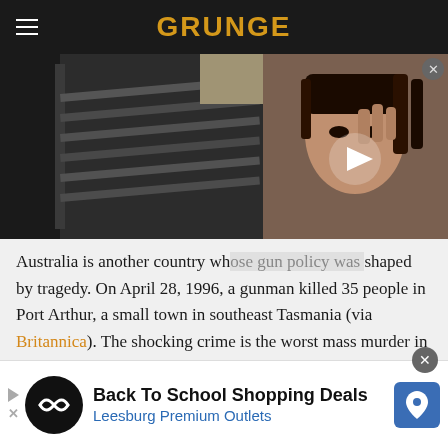GRUNGE
[Figure (photo): Left: image of guns/rifles in a dark setting. Right: mugshot-style photo of a young man with an overlaid video play button.]
Australia is another country whose gun policy was shaped by tragedy. On April 28, 1996, a gunman killed 35 people in Port Arthur, a small town in southeast Tasmania (via Britannica). The shocking crime is the worst mass murder in modern Australian history and remains one of the worst mass shootings anywhere in the world. Perpetrator Martin Bryant was punished accordingly,
[Figure (infographic): Advertisement banner: Back To School Shopping Deals - Leesburg Premium Outlets, with circular logo and map pin icon.]